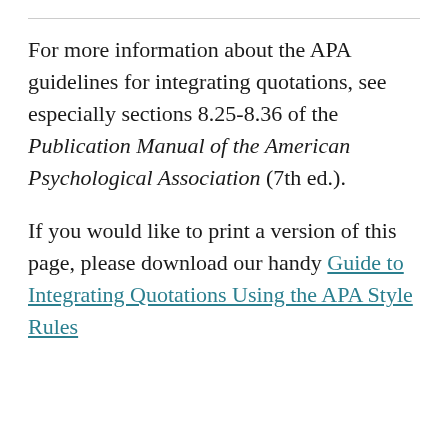For more information about the APA guidelines for integrating quotations, see especially sections 8.25-8.36 of the Publication Manual of the American Psychological Association (7th ed.).
If you would like to print a version of this page, please download our handy Guide to Integrating Quotations Using the APA Style Rules